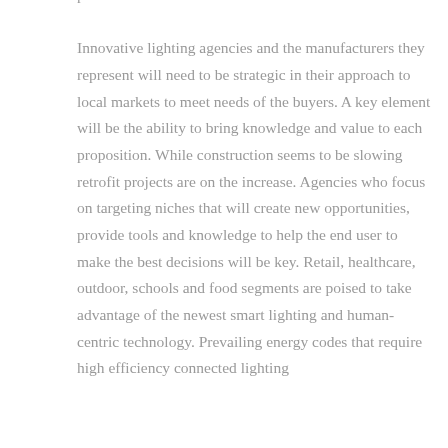pressure within the local markets for sales. Innovative lighting agencies and the manufacturers they represent will need to be strategic in their approach to local markets to meet needs of the buyers. A key element will be the ability to bring knowledge and value to each proposition. While construction seems to be slowing retrofit projects are on the increase. Agencies who focus on targeting niches that will create new opportunities, provide tools and knowledge to help the end user to make the best decisions will be key. Retail, healthcare, outdoor, schools and food segments are poised to take advantage of the newest smart lighting and human- centric technology. Prevailing energy codes that require high efficiency connected lighting